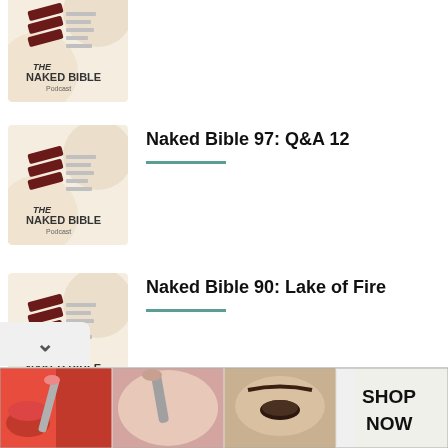[Figure (illustration): Naked Bible Podcast logo thumbnail - top (partially visible)]
[Figure (illustration): Naked Bible Podcast logo thumbnail]
Naked Bible 97: Q&A 12
[Figure (illustration): Naked Bible Podcast logo thumbnail]
Naked Bible 90: Lake of Fire
[Figure (photo): Ulta Beauty advertisement banner showing makeup and beauty products with SHOP NOW text]